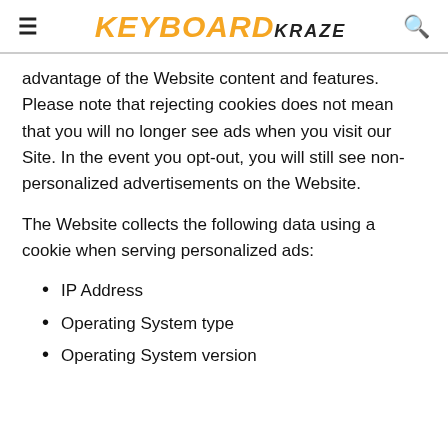KEYBOARD KRAZE
advantage of the Website content and features. Please note that rejecting cookies does not mean that you will no longer see ads when you visit our Site. In the event you opt-out, you will still see non-personalized advertisements on the Website.
The Website collects the following data using a cookie when serving personalized ads:
IP Address
Operating System type
Operating System version